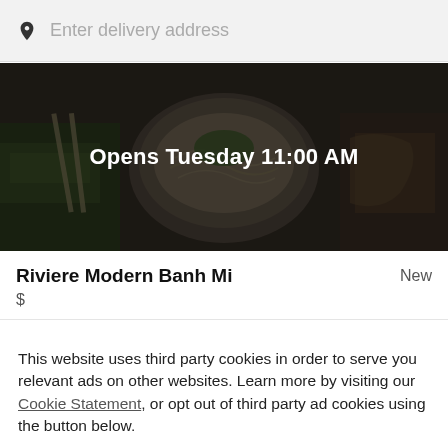Enter delivery address
[Figure (photo): Food photo banner showing bowls of Vietnamese noodles and dishes with a dark overlay, displaying text 'Opens Tuesday 11:00 AM']
Opens Tuesday 11:00 AM
Riviere Modern Banh Mi
New
$
This website uses third party cookies in order to serve you relevant ads on other websites. Learn more by visiting our Cookie Statement, or opt out of third party ad cookies using the button below.
OPT OUT
GOT IT